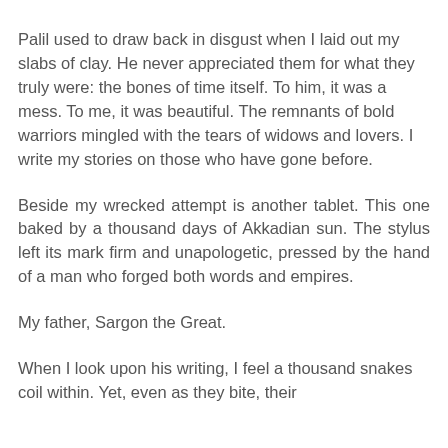Palil used to draw back in disgust when I laid out my slabs of clay. He never appreciated them for what they truly were: the bones of time itself. To him, it was a mess. To me, it was beautiful. The remnants of bold warriors mingled with the tears of widows and lovers. I write my stories on those who have gone before.
Beside my wrecked attempt is another tablet. This one baked by a thousand days of Akkadian sun. The stylus left its mark firm and unapologetic, pressed by the hand of a man who forged both words and empires.
My father, Sargon the Great.
When I look upon his writing, I feel a thousand snakes coil within. Yet, even as they bite, their poison tastes sweet. Everything around him